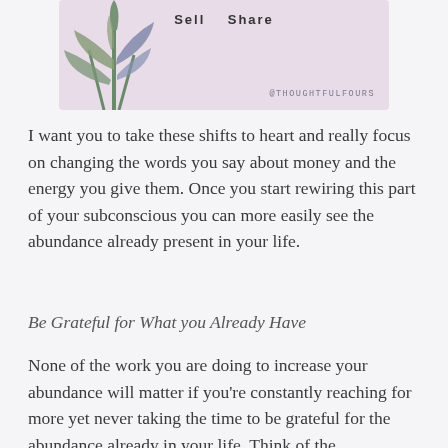[Figure (illustration): A decorative image with a light purple/mauve background showing a stylized plant illustration on the left side, with the text 'Sell Share' in bold at the top center and '@THOUGHTFULFOURS' in small caps at the bottom right.]
I want you to take these shifts to heart and really focus on changing the words you say about money and the energy you give them. Once you start rewiring this part of your subconscious you can more easily see the abundance already present in your life.
Be Grateful for What you Already Have
None of the work you are doing to increase your abundance will matter if you're constantly reaching for more yet never taking the time to be grateful for the abundance already in your life. Think of the investments and resources you are already able to